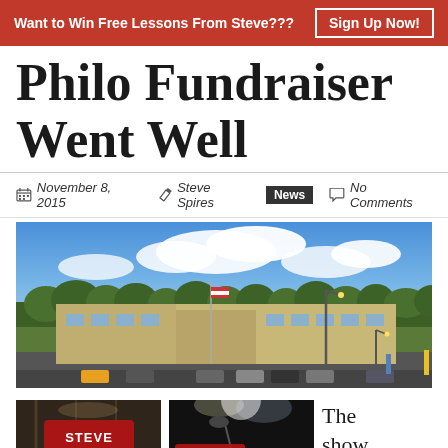Want to Win Free Lessons From Steve??? Sign Up Now!
Philo Fundraiser Went Well
November 8, 2015  Steve Spires  News  No Comments
[Figure (photo): Exterior photo of a large school building with a parking lot and wooded hills in the background under a blue sky with clouds]
[Figure (photo): Indoor photo with Steve Spires banner/logo overlay]
[Figure (photo): Stage/performance photo with Steve Spires and Smiling Goat logos overlay]
The show went